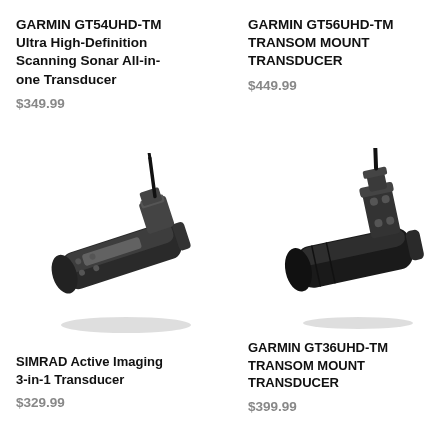GARMIN GT54UHD-TM Ultra High-Definition Scanning Sonar All-in-one Transducer
$349.99
GARMIN GT56UHD-TM TRANSOM MOUNT TRANSDUCER
$449.99
[Figure (photo): SIMRAD Active Imaging 3-in-1 Transducer product photo showing a black transom mount transducer with mounting bracket and cable]
SIMRAD Active Imaging 3-in-1 Transducer
$329.99
[Figure (photo): GARMIN GT36UHD-TM Transom Mount Transducer product photo showing a black transom mount transducer with bracket]
GARMIN GT36UHD-TM TRANSOM MOUNT TRANSDUCER
$399.99